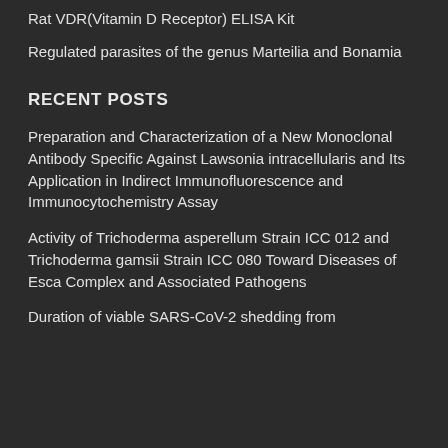Rat VDR(Vitamin D Receptor) ELISA Kit
Regulated parasites of the genus Marteilia and Bonamia
RECENT POSTS
Preparation and Characterization of a New Monoclonal Antibody Specific Against Lawsonia intracellularis and Its Application in Indirect Immunofluorescence and Immunocytochemistry Assay
Activity of Trichoderma asperellum Strain ICC 012 and Trichoderma gamsii Strain ICC 080 Toward Diseases of Esca Complex and Associated Pathogens
Duration of viable SARS-CoV-2 shedding from